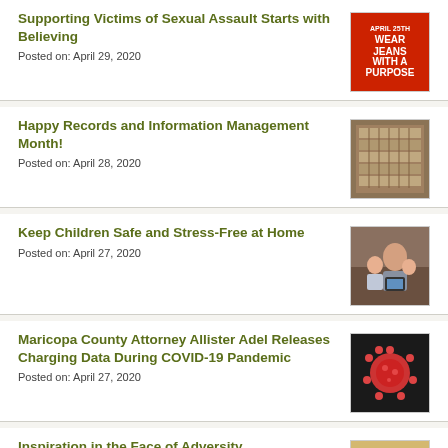Supporting Victims of Sexual Assault Starts with Believing
Posted on: April 29, 2020
[Figure (photo): Red graphic with text: APRIL 25TH WEAR JEANS WITH A PURPOSE]
Happy Records and Information Management Month!
Posted on: April 28, 2020
[Figure (photo): Photo of filing cabinet with many files/folders]
Keep Children Safe and Stress-Free at Home
Posted on: April 27, 2020
[Figure (photo): Photo of parent and children looking at a device]
Maricopa County Attorney Allister Adel Releases Charging Data During COVID-19 Pandemic
Posted on: April 27, 2020
[Figure (photo): Photo of coronavirus particle]
Inspiration in the Face of Adversity
Posted on: April 24, 2020
[Figure (photo): Photo with birds and sunset, National Crime Victims Rights Week April 19-25 2020]